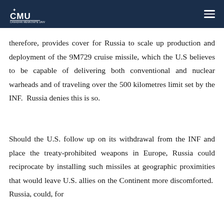CMU logo header
therefore, provides cover for Russia to scale up production and deployment of the 9M729 cruise missile, which the U.S believes to be capable of delivering both conventional and nuclear warheads and of traveling over the 500 kilometres limit set by the INF.  Russia denies this is so.
Should the U.S. follow up on its withdrawal from the INF and place the treaty-prohibited weapons in Europe, Russia could reciprocate by installing such missiles at geographic proximities that would leave U.S. allies on the Continent more discomforted.  Russia, could, for